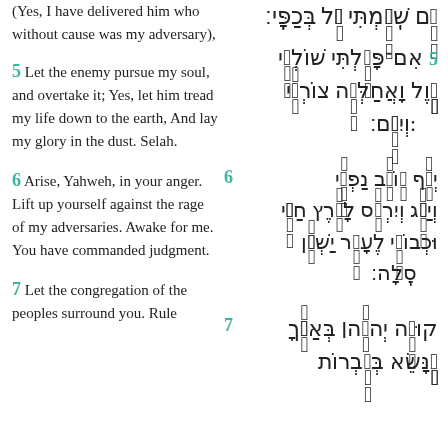(Yes, I have delivered him who without cause was my adversary),
5 Let the enemy pursue my soul, and overtake it; Yes, let him tread my life down to the earth, And lay my glory in the dust. Selah.
6 Arise, Yahweh, in your anger. Lift up yourself against the rage of my adversaries. Awake for me. You have commanded judgment.
7 Let the congregation of the peoples surround you. Rule
Hebrew verse text - top portion (partial verse continuation)
5 Hebrew: אִם־פָּעַלְתִּי שׁוֹלְמִי עָוֶל וָאֲחַלְּצָה צוֹרְרִי:
6 Hebrew: יְרֹף אוֹיֵב נַפְשִׁי וְיַשֵּׂג וְיִרְמֹס לָאָרֶץ חַיָּי וּכְבוֹדִי לֶעָפָר יַשְׁכֵּן סֶלָה:
7 Hebrew: קוּמָה יְהוָה בְּאַפֶּךָ ...